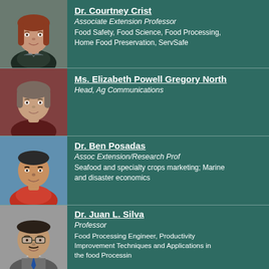[Figure (photo): Headshot of Dr. Courtney Crist]
Dr. Courtney Crist
Associate Extension Professor
Food Safety, Food Science, Food Processing, Home Food Preservation, ServSafe
[Figure (photo): Headshot of Ms. Elizabeth Powell Gregory North]
Ms. Elizabeth Powell Gregory North
Head, Ag Communications
[Figure (photo): Headshot of Dr. Ben Posadas]
Dr. Ben Posadas
Assoc Extension/Research Prof
Seafood and specialty crops marketing; Marine and disaster economics
[Figure (photo): Headshot of Dr. Juan L. Silva]
Dr. Juan L. Silva
Professor
Food Processing Engineer, Productivity Improvement Techniques and Applications in the food Processin
[Figure (photo): Headshot of Dr. Eric Thomas Stafne]
Dr. Eric Thomas Stafne
Extension/Research Professor